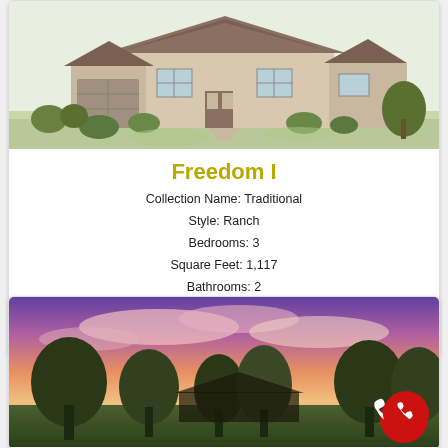[Figure (illustration): Exterior rendering of a traditional ranch-style house with green lawn and shrubs, pencil/watercolor style]
Freedom I
Collection Name: Traditional
Style: Ranch
Bedrooms: 3
Square Feet: 1,117
Bathrooms: 2
View Floor Plan >
[Figure (photo): Exterior photo of a house at dusk/sunset with trees silhouetted against a colorful sky with pink and purple clouds]